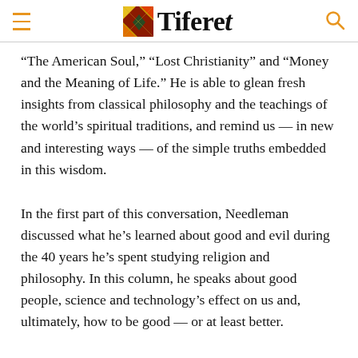Tiferet
“The American Soul,” “Lost Christianity” and “Money and the Meaning of Life.” He is able to glean fresh insights from classical philosophy and the teachings of the world’s spiritual traditions, and remind us — in new and interesting ways — of the simple truths embedded in this wisdom.
In the first part of this conversation, Needleman discussed what he’s learned about good and evil during the 40 years he’s spent studying religion and philosophy. In this column, he speaks about good people, science and technology’s effect on us and, ultimately, how to be good — or at least better.